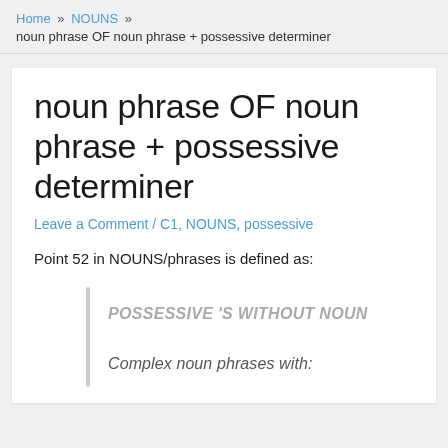Home » NOUNS » noun phrase OF noun phrase + possessive determiner
noun phrase OF noun phrase + possessive determiner
Leave a Comment / C1, NOUNS, possessive
Point 52 in NOUNS/phrases is defined as:
POSSESSIVE 'S WITHOUT NOUN
Complex noun phrases with: